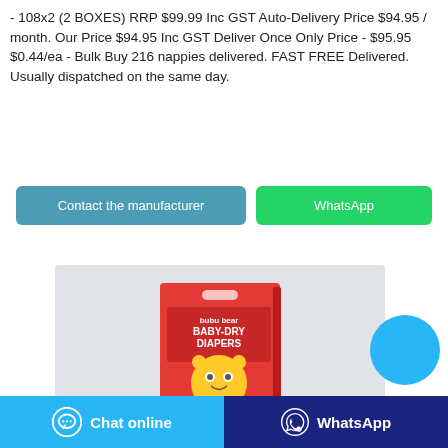- 108x2 (2 BOXES) RRP $99.99 Inc GST Auto-Delivery Price $94.95 / month. Our Price $94.95 Inc GST Deliver Once Only Price - $95.95 $0.44/ea - Bulk Buy 216 nappies delivered. FAST FREE Delivered. Usually dispatched on the same day.
[Figure (other): Two buttons: 'Contact the manufacturer' (teal/blue) and 'WhatsApp' (green)]
[Figure (photo): Product photo of Bubu Bear Baby-Dry Diapers box (red packaging with cartoon bear character, 28 count) on a light grey background]
[Figure (other): Bottom navigation bar with 'Chat online' button (light blue with chat bubble icon) and 'WhatsApp' button (dark blue with WhatsApp icon)]